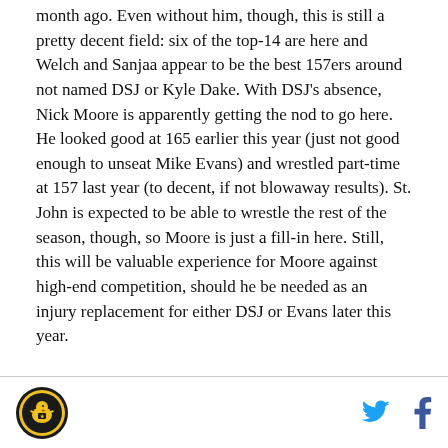month ago. Even without him, though, this is still a pretty decent field: six of the top-14 are here and Welch and Sanjaa appear to be the best 157ers around not named DSJ or Kyle Dake. With DSJ's absence, Nick Moore is apparently getting the nod to go here. He looked good at 165 earlier this year (just not good enough to unseat Mike Evans) and wrestled part-time at 157 last year (to decent, if not blowaway results). St. John is expected to be able to wrestle the rest of the season, though, so Moore is just a fill-in here. Still, this will be valuable experience for Moore against high-end competition, should he be needed as an injury replacement for either DSJ or Evans later this year.
[logo] [twitter] [facebook]